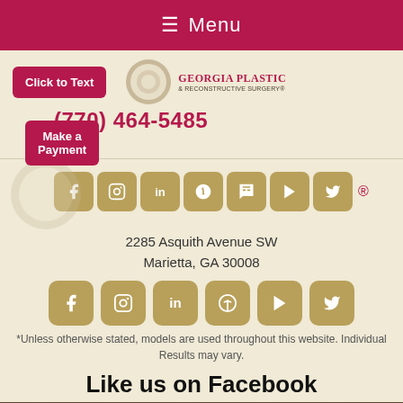☰ Menu
Click to Text
[Figure (logo): Georgia Plastic & Reconstructive Surgery logo with circular emblem]
(770) 464-5485
Make a Payment
[Figure (infographic): Row of social media icon buttons (Facebook, Instagram, LinkedIn, Pinterest, YouTube, Twitter) in gold rounded squares, overlapping with logo]
2285 Asquith Avenue SW
Marietta, GA 30008
[Figure (infographic): Row of social media icon buttons: Facebook, Instagram, LinkedIn, Pinterest, YouTube, Twitter in gold rounded squares]
*Unless otherwise stated, models are used throughout this website. Individual Results may vary.
Like us on Facebook
[Figure (photo): Photo strip at bottom of page]